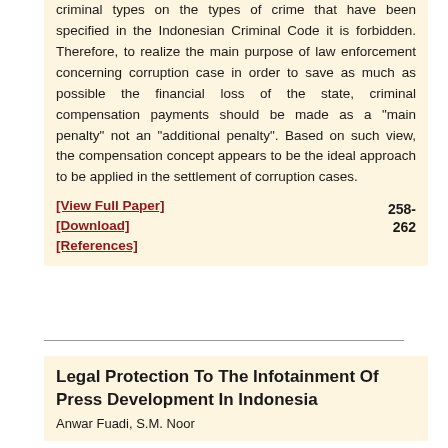criminal types on the types of crime that have been specified in the Indonesian Criminal Code it is forbidden. Therefore, to realize the main purpose of law enforcement concerning corruption case in order to save as much as possible the financial loss of the state, criminal compensation payments should be made as a "main penalty" not an "additional penalty". Based on such view, the compensation concept appears to be the ideal approach to be applied in the settlement of corruption cases.
[View Full Paper] [Download] [References] 258-262
Legal Protection To The Infotainment Of Press Development In Indonesia
Anwar Fuadi, S.M. Noor